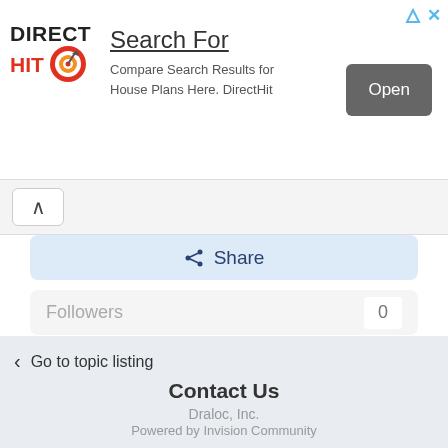[Figure (other): Direct Hit advertisement banner with logo, 'Search For' headline, description 'Compare Search Results for House Plans Here. DirectHit', and an 'Open' button]
Search For
Compare Search Results for House Plans Here. DirectHit
Open
Share
Followers	0
< Go to topic listing
Contact Us
Draloc, Inc.
Powered by Invision Community